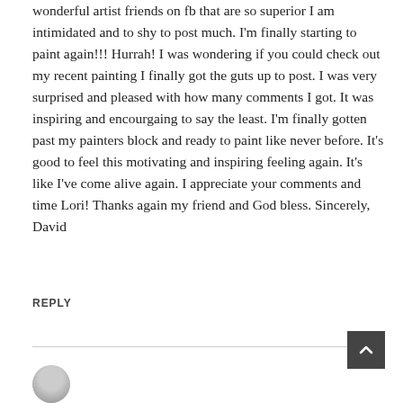wonderful artist friends on fb that are so superior I am intimidated and to shy to post much. I'm finally starting to paint again!!! Hurrah! I was wondering if you could check out my recent painting I finally got the guts up to post. I was very surprised and pleased with how many comments I got. It was inspiring and encourgaing to say the least. I'm finally gotten past my painters block and ready to paint like never before. It's good to feel this motivating and inspiring feeling again. It's like I've come alive again. I appreciate your comments and time Lori! Thanks again my friend and God bless. Sincerely, David
REPLY